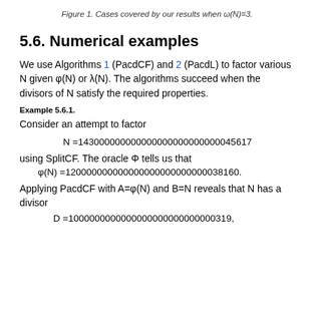Figure 1. Cases covered by our results when ω(N)=3.
5.6. Numerical examples
We use Algorithms 1 (PacdCF) and 2 (PacdL) to factor various N given φ(N) or λ(N). The algorithms succeed when the divisors of N satisfy the required properties.
Example 5.6.1.
Consider an attempt to factor
using SplitCF. The oracle Φ tells us that
Applying PacdCF with A=φ(N) and B=N reveals that N has a divisor